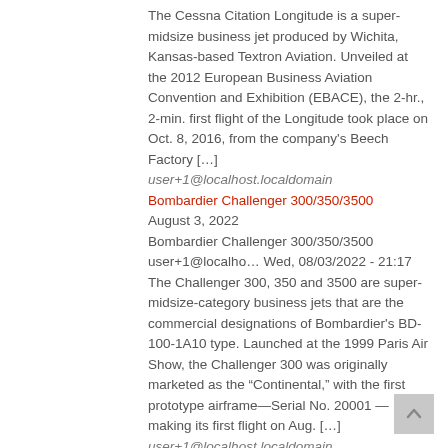The Cessna Citation Longitude is a super-midsize business jet produced by Wichita, Kansas-based Textron Aviation. Unveiled at the 2012 European Business Aviation Convention and Exhibition (EBACE), the 2-hr., 2-min. first flight of the Longitude took place on Oct. 8, 2016, from the company's Beech Factory […]
user+1@localhost.localdomain
Bombardier Challenger 300/350/3500
August 3, 2022
Bombardier Challenger 300/350/3500 user+1@localho… Wed, 08/03/2022 - 21:17
The Challenger 300, 350 and 3500 are super-midsize-category business jets that are the commercial designations of Bombardier's BD-100-1A10 type. Launched at the 1999 Paris Air Show, the Challenger 300 was originally marketed as the “Continental,” with the first prototype airframe—Serial No. 20001—making its first flight on Aug. […]
user+1@localhost.localdomain
Embraer Legacy 450/500 and Praetor 500/600
July 13, 2022